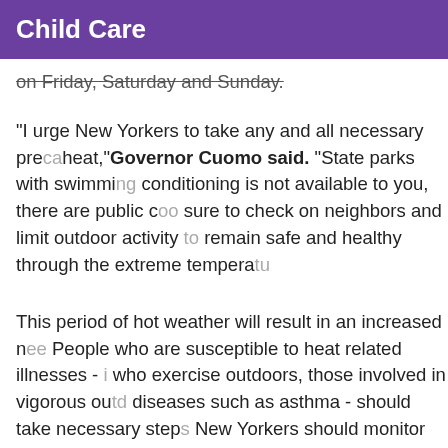Child Care
on Friday, Saturday and Sunday.
"I urge New Yorkers to take any and all necessary precautions to stay safe in the heat," Governor Cuomo said. "State parks with swimming are open and if air conditioning is not available to you, there are public cooling centers. Please be sure to check on neighbors and limit outdoor activity to beat the heat and remain safe and healthy through the extreme temperatures."
This period of hot weather will result in an increased need for vigilance. People who are susceptible to heat related illnesses - including older adults, those who exercise outdoors, those involved in vigorous outdoor work, and those with diseases such as asthma - should take necessary steps to stay cool and hydrated. New Yorkers should monitor local weather forecasts for updates and for a complete listing of weather watches, warnings, advisories